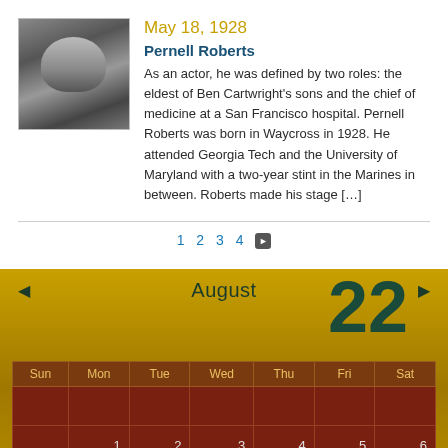[Figure (photo): Black and white portrait photo of Pernell Roberts]
May 18, 1928
Pernell Roberts
As an actor, he was defined by two roles: the eldest of Ben Cartwright's sons and the chief of medicine at a San Francisco hospital. Pernell Roberts was born in Waycross in 1928. He attended Georgia Tech and the University of Maryland with a two-year stint in the Marines in between. Roberts made his stage […]
1 2 3 4 ▶
August
22
| Sun | Mon | Tue | Wed | Thu | Fri | Sat |
| --- | --- | --- | --- | --- | --- | --- |
|  |  |  |  |  |  |  |
|  | 1 | 2 | 3 | 4 | 5 | 6 |